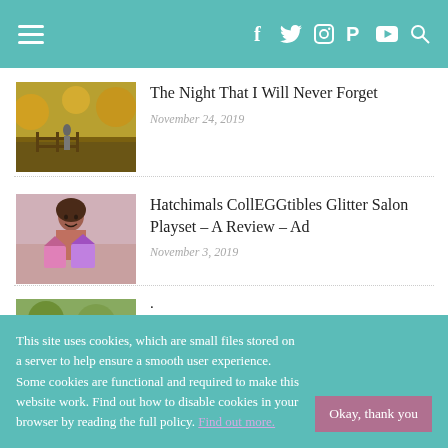Navigation header with hamburger menu and social icons: f, Twitter, Instagram, Pinterest, YouTube, search
[Figure (photo): Autumn outdoor scene with a person standing at a wooden fence surrounded by yellow foliage]
The Night That I Will Never Forget
November 24, 2019
[Figure (photo): Young girl holding pink toy house playsets, smiling at camera]
Hatchimals CollEGGtibles Glitter Salon Playset – A Review – Ad
November 3, 2019
[Figure (photo): Partially visible third article thumbnail, green toned image]
This site uses cookies, which are small files stored on a server to help ensure a smooth user experience. Some cookies are functional and required to make this website work. Find out how to disable cookies in your browser by reading the full policy. Find out more.